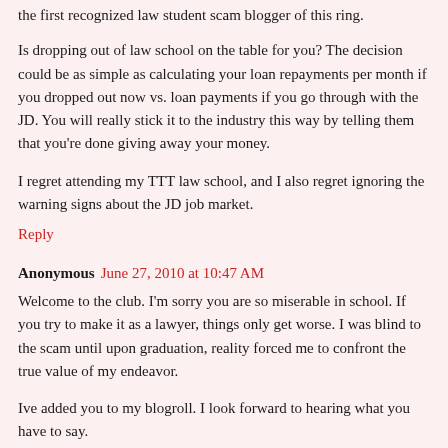the first recognized law student scam blogger of this ring.
Is dropping out of law school on the table for you? The decision could be as simple as calculating your loan repayments per month if you dropped out now vs. loan payments if you go through with the JD. You will really stick it to the industry this way by telling them that you're done giving away your money.
I regret attending my TTT law school, and I also regret ignoring the warning signs about the JD job market.
Reply
Anonymous June 27, 2010 at 10:47 AM
Welcome to the club. I'm sorry you are so miserable in school. If you try to make it as a lawyer, things only get worse. I was blind to the scam until upon graduation, reality forced me to confront the true value of my endeavor.
Ive added you to my blogroll. I look forward to hearing what you have to say.